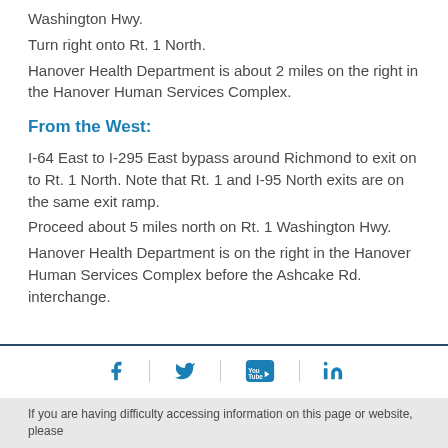Washington Hwy.
Turn right onto Rt. 1 North.
Hanover Health Department is about 2 miles on the right in the Hanover Human Services Complex.
From the West:
I-64 East to I-295 East bypass around Richmond to exit on to Rt. 1 North. Note that Rt. 1 and I-95 North exits are on the same exit ramp.
Proceed about 5 miles north on Rt. 1 Washington Hwy.
Hanover Health Department is on the right in the Hanover Human Services Complex before the Ashcake Rd. interchange.
[Figure (infographic): Social media icons: Facebook, Twitter, YouTube, LinkedIn separated by vertical dividers]
If you are having difficulty accessing information on this page or website, please